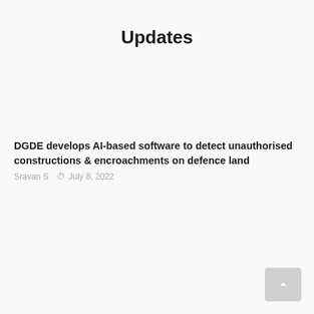Updates
DGDE develops AI-based software to detect unauthorised constructions & encroachments on defence land
Sravan S  ⊙ July 8, 2022